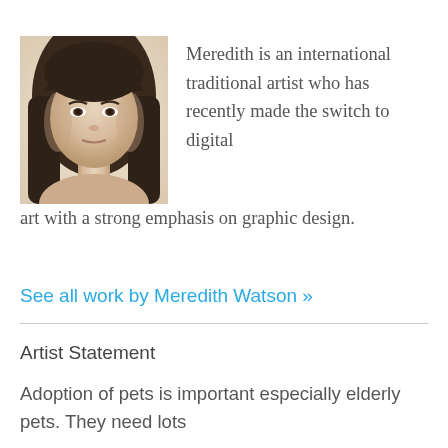[Figure (photo): Portrait photo of Meredith Watson, a woman with long dark hair]
Meredith is an international traditional artist who has recently made the switch to digital art with a strong emphasis on graphic design.
See all work by Meredith Watson »
Artist Statement
Adoption of pets is important especially elderly pets. They need lots